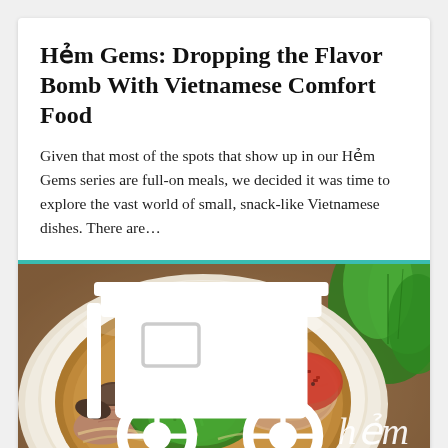Hẻm Gems: Dropping the Flavor Bomb With Vietnamese Comfort Food
Given that most of the spots that show up in our Hẻm Gems series are full-on meals, we decided it was time to explore the vast world of small, snack-like Vietnamese dishes. There are…
[Figure (photo): Close-up photo of a white bowl filled with Vietnamese soup/noodle dish featuring meat, herbs including green chopped herbs, mushrooms, in a broth with chili oil. Fresh green basil leaves visible in background. Hẻm Gems watermark logo with street food cart icon overlaid in bottom right.]